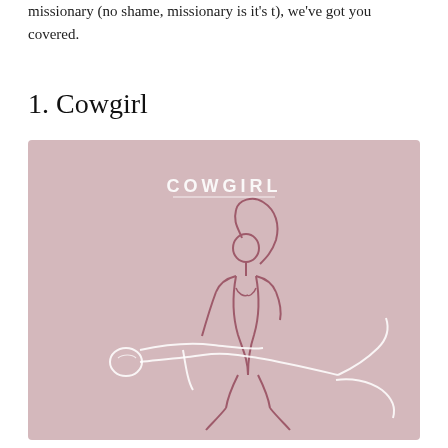missionary (no shame, missionary is it's t), we've got you covered.
1. Cowgirl
[Figure (illustration): Pink illustrated line-art image labeled COWGIRL showing two figures in the cowgirl position, drawn in a minimal outline style on a muted pink/rose background.]